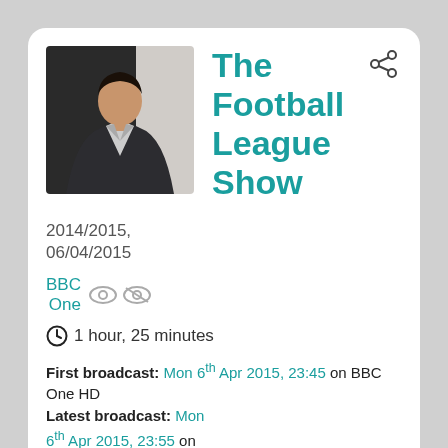[Figure (photo): Photo of a man in a dark suit against a grey/light background, likely a TV presenter]
The Football League Show
2014/2015, 06/04/2015
BBC One
1 hour, 25 minutes
First broadcast: Mon 6th Apr 2015, 23:45 on BBC One HD
Latest broadcast: Mon 6th Apr 2015, 23:55 on